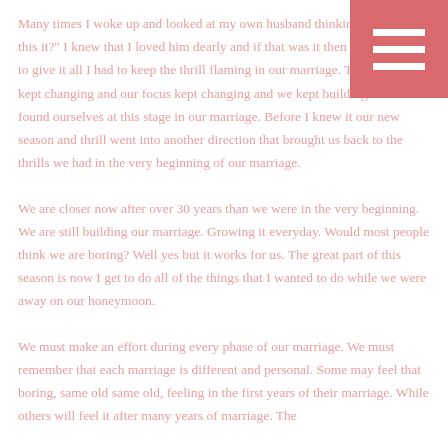Many times I woke up and looked at my own husband thinking "really is this it?" I knew that I loved him dearly and if that was it then I was willing to give it all I had to keep the thrill flaming in our marriage. The seasons kept changing and our focus kept changing and we kept building until we found ourselves at this stage in our marriage. Before I knew it our new season and thrill went into another direction that brought us back to the thrills we had in the very beginning of our marriage.
We are closer now after over 30 years than we were in the very beginning. We are still building our marriage. Growing it everyday. Would most people think we are boring? Well yes but it works for us. The great part of this season is now I get to do all of the things that I wanted to do while we were away on our honeymoon.
We must make an effort during every phase of our marriage. We must remember that each marriage is different and personal. Some may feel that boring, same old same old, feeling in the first years of their marriage. While others will feel it after many years of marriage. The